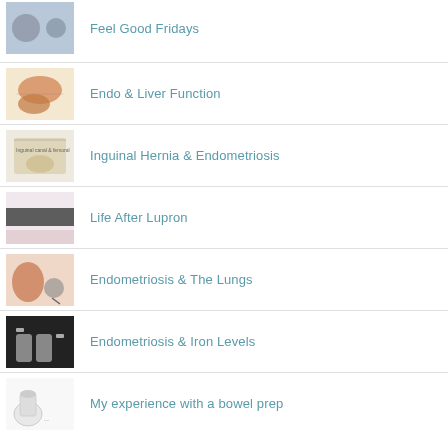Feel Good Fridays
Endo & Liver Function
Inguinal Hernia & Endometriosis
Life After Lupron
Endometriosis & The Lungs
Endometriosis & Iron Levels
My experience with a bowel prep